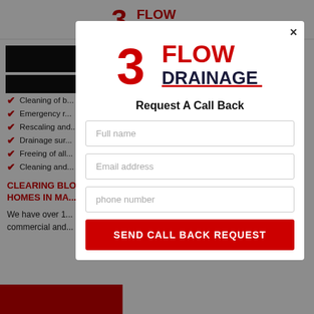[Figure (logo): 3 Flow Drainage logo - top of page header]
[Figure (logo): 3 Flow Drainage logo - inside modal popup]
Request A Call Back
Cleaning of b...
Emergency r...
Rescaling and...
Drainage sur...
Freeing of all...
Cleaning and...
CLEARING BLO... HOMES IN MA...
We have over 1... commercial and...
Full name (form field placeholder)
Email address (form field placeholder)
phone number (form field placeholder)
SEND CALL BACK REQUEST (button)